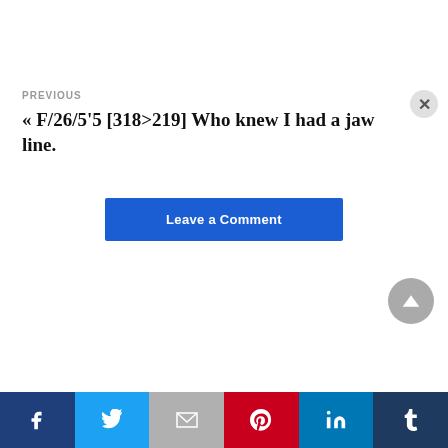PREVIOUS
« F/26/5'5 [318>219] Who knew I had a jaw line.
Leave a Comment
[Figure (other): Scroll-to-top button, circular grey arrow pointing up]
[Figure (other): Social sharing bar with Facebook, Twitter, Gmail, Pinterest, LinkedIn, Tumblr icons]